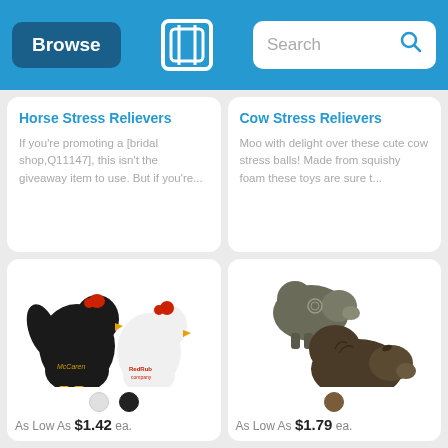Browse | [Logo] | Search
Horse Stress Relievers
If you're promoting a [bridal shop,Q11147], this isn't the giveaway item to use. But if you're...
Cow Stress Relievers
Moo with delight over these cute cow stress balls! Made from squishy foam these toys are sure t...
[Figure (photo): Two chicken/rooster stress reliever toys — one black with yellow feet and red comb (branded McCaren), one white with yellow feet and red comb (branded RedRub)]
As Low As $1.42 ea.
[Figure (photo): Two cow/bison stress reliever toys in dark brown/grey colors, one smaller facing left, one larger facing right]
As Low As $1.79 ea.